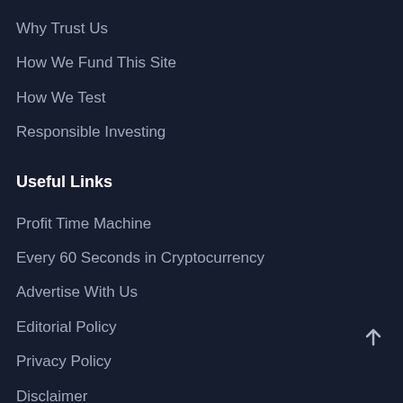Why Trust Us
How We Fund This Site
How We Test
Responsible Investing
Useful Links
Profit Time Machine
Every 60 Seconds in Cryptocurrency
Advertise With Us
Editorial Policy
Privacy Policy
Disclaimer
Sitemap
Connect